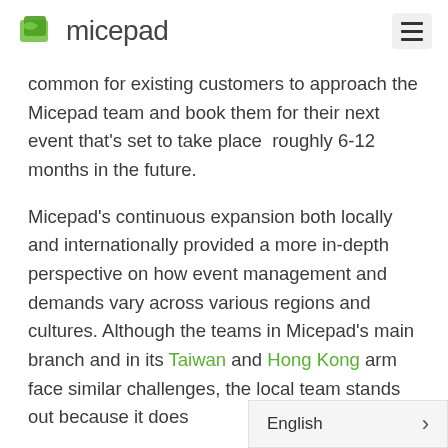micepad
common for existing customers to approach the Micepad team and book them for their next event that's set to take place  roughly 6-12 months in the future.
Micepad's continuous expansion both locally and internationally provided a more in-depth perspective on how event management and demands vary across various regions and cultures. Although the teams in Micepad's main branch and in its Taiwan and Hong Kong arm face similar challenges, the local team stands out because it does
English